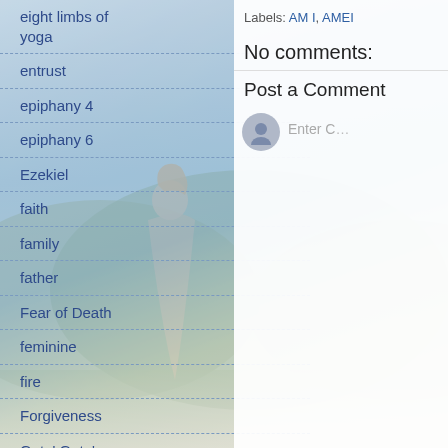[Figure (photo): Background photo of a woman with blonde hair sitting in a meditation pose on a rocky overlook, looking out over a green mountainous landscape.]
eight limbs of yoga
entrust
epiphany 4
epiphany 6
Ezekiel
faith
family
father
Fear of Death
feminine
fire
Forgiveness
Gate' Gate'
gay pride
george floyd
God
God so loves the world
Labels: AM I, AMEI
No comments:
Post a Comment
Enter C…
Newer Post
Subscribe to: Post